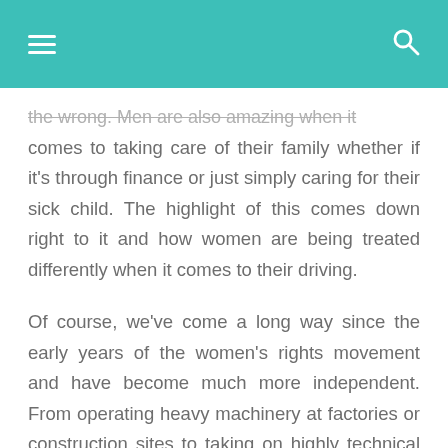navigation header with hamburger menu and search icon
the wrong. Men are also amazing when it comes to taking care of their family whether if it's through finance or just simply caring for their sick child. The highlight of this comes down right to it and how women are being treated differently when it comes to their driving.
Of course, we've come a long way since the early years of the women's rights movement and have become much more independent. From operating heavy machinery at factories or construction sites to taking on highly technical jobs such as engineers and computer experts, to even the thousands of female lib